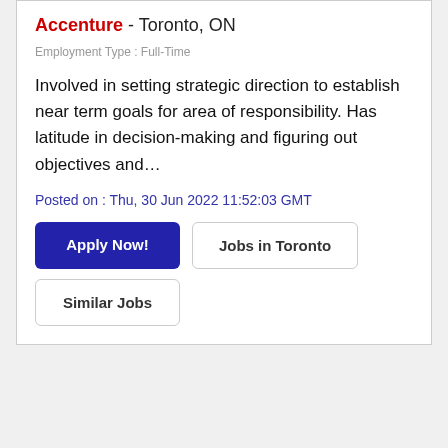Accenture - Toronto, ON
Employment Type : Full-Time
Involved in setting strategic direction to establish near term goals for area of responsibility. Has latitude in decision-making and figuring out objectives and…
Posted on : Thu, 30 Jun 2022 11:52:03 GMT
Apply Now! | Jobs in Toronto | Similar Jobs